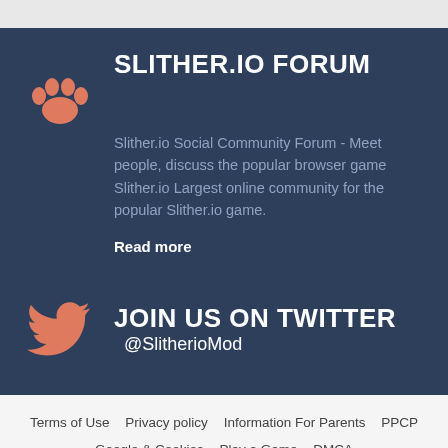SLITHER.IO FORUM
Slither.io Social Community Forum - Meet people, discuss the popular browser game Slither.io Largest online community for the popular Slither.io game.
Read more
JOIN US ON TWITTER @SlitherioMod
Terms of Use  Privacy policy  Information For Parents  PPCP  Google & Cookies  Play a Game  DMCA